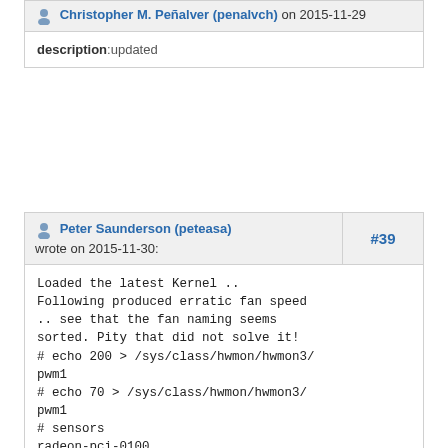Christopher M. Peñalver (penalvch) on 2015-11-29
description:updated
Peter Saunderson (peteasa) #39 wrote on 2015-11-30:
Loaded the latest Kernel ..
Following produced erratic fan speed
.. see that the fan naming seems
sorted. Pity that did not solve it!
# echo 200 > /sys/class/hwmon/hwmon3/pwm1
# echo 70 > /sys/class/hwmon/hwmon3/pwm1
# sensors
radeon-pci-0100
Adapter: PCI adapter
temp1: +57.0°C (crit = +120.0°C, hyst = +90.0°C)

coretemp-isa-0000
Adapter: ISA adapter
Core 0: +32.0°C (high = +83.0°C, crit